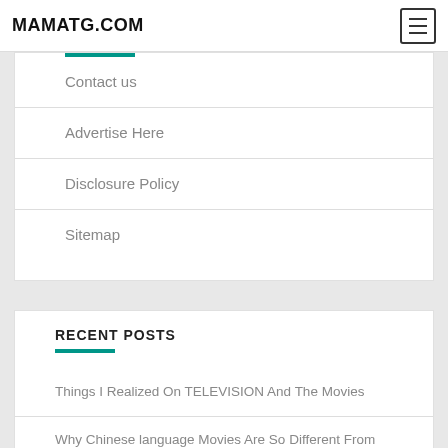MAMATG.COM
Contact us
Advertise Here
Disclosure Policy
Sitemap
RECENT POSTS
Things I Realized On TELEVISION And The Movies
Why Chinese language Movies Are So Different From Western Films In The Method Of